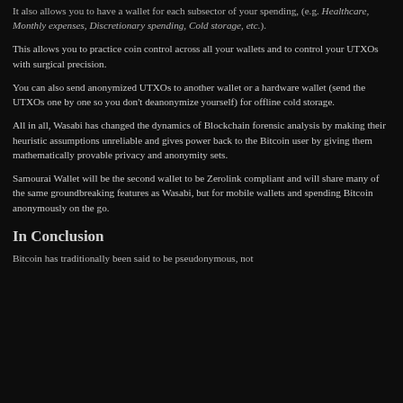It also allows you to have a wallet for each subsector of your spending, (e.g. Healthcare, Monthly expenses, Discretionary spending, Cold storage, etc.).
This allows you to practice coin control across all your wallets and to control your UTXOs with surgical precision.
You can also send anonymized UTXOs to another wallet or a hardware wallet (send the UTXOs one by one so you don't deanonymize yourself) for offline cold storage.
All in all, Wasabi has changed the dynamics of Blockchain forensic analysis by making their heuristic assumptions unreliable and gives power back to the Bitcoin user by giving them mathematically provable privacy and anonymity sets.
Samourai Wallet will be the second wallet to be Zerolink compliant and will share many of the same groundbreaking features as Wasabi, but for mobile wallets and spending Bitcoin anonymously on the go.
In Conclusion
Bitcoin has traditionally been said to be pseudonymous, not